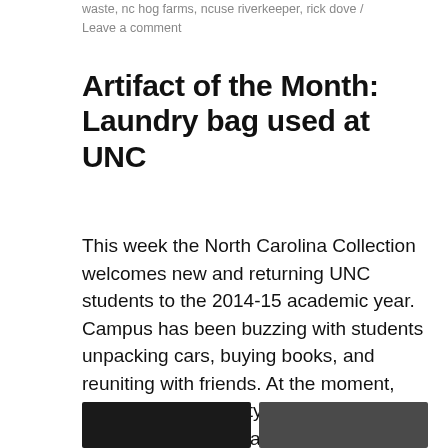waste, nc hog farms, ncuse riverkeeper, rick dove / Leave a comment
Artifact of the Month: Laundry bag used at UNC
This week the North Carolina Collection welcomes new and returning UNC students to the 2014-15 academic year. Campus has been buzzing with students unpacking cars, buying books, and reuniting with friends. At the moment, everyone looks pretty clean… but it won't be long before they all have dirty laundry.
[Figure (photo): Two image thumbnails at the bottom of the page, partially visible]